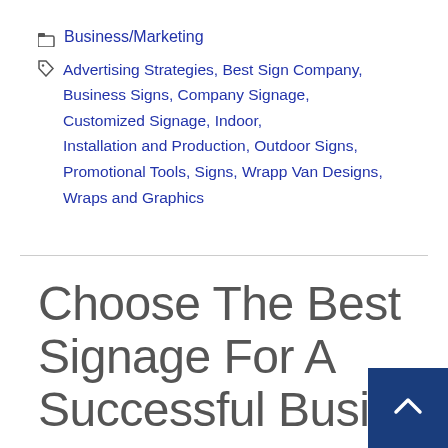Business/Marketing
Advertising Strategies, Best Sign Company, Business Signs, Company Signage, Customized Signage, Indoor, Installation and Production, Outdoor Signs, Promotional Tools, Signs, Wrapp Van Designs, Wraps and Graphics
Choose The Best Signage For A Successful Busine
admin  June 11, 2020